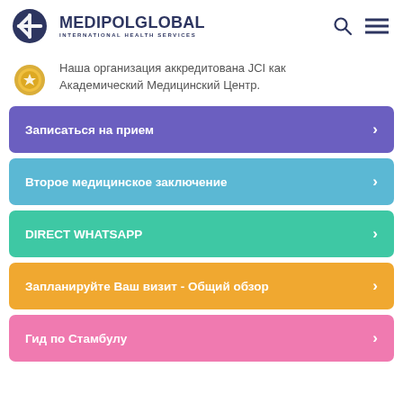MEDIPOL GLOBAL INTERNATIONAL HEALTH SERVICES
Наша организация аккредитована JCI как Академический Медицинский Центр.
Записаться на прием
Второе медицинское заключение
DIRECT WHATSAPP
Запланируйте Ваш визит - Общий обзор
Гид по Стамбулу